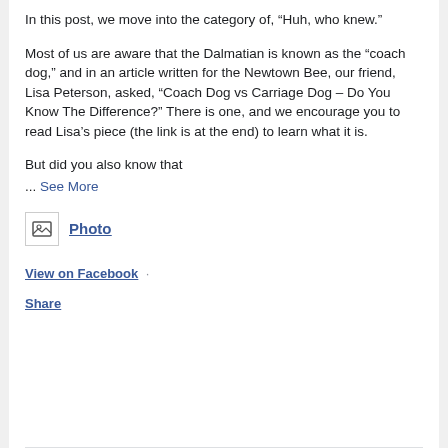In this post, we move into the category of, “Huh, who knew.”
Most of us are aware that the Dalmatian is known as the “coach dog,” and in an article written for the Newtown Bee, our friend, Lisa Peterson, asked, “Coach Dog vs Carriage Dog – Do You Know The Difference?” There is one, and we encourage you to read Lisa’s piece (the link is at the end) to learn what it is.
But did you also know that
... See More
[Figure (other): Photo icon placeholder image]
Photo
View on Facebook ·
Share